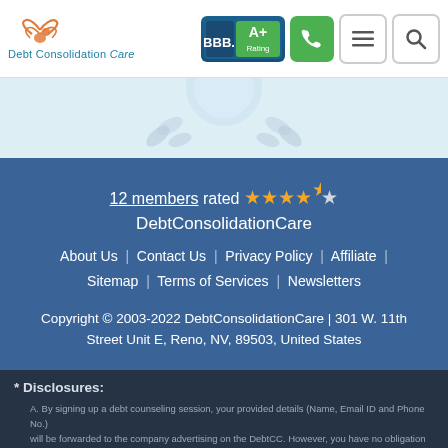Debt Consolidation Care — header with logo, BBB A+ rating badge, phone, menu, search icons
[Figure (illustration): Light blue hero band with partial award/medal illustration]
12 members rated ★★★★½ DebtConsolidationCare
About Us  |  Contact Us  |  Privacy Policy  |  Affiliate  |  Sitemap  |  Terms of Services  |  Newsletters
Copyright © 2003-2022 DebtConsolidationCare | 301 W. 11th Street Unit E, Reno, NV, 89503, United States
* Disclosures:
A. By signing up a debt counseling session, your provided details (Name, Email ID and Phone No.) will be forwarded to the company advertising on the DebtCC. However, you have no obligation to use their services.